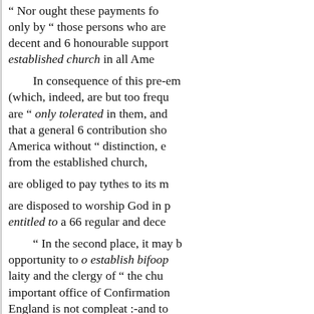" Nor ought these payments fo only by " those persons who are decent and 6 honourable support established church in all Ame
In consequence of this pre-em (which, indeed, are but too frequ are " only tolerated in them, and that a general 6 contribution sho America without " distinction, e from the established church,
are obliged to pay tythes to its m
are disposed to worship God in p entitled to a 66 regular and dece
" In the second place, it may b opportunity to o establish bifoop laity and the clergy of " the chu important office of Confirmation England is not compleat :-and to men who devote themselves to t episcopal 66 ordination in the c
« Previous